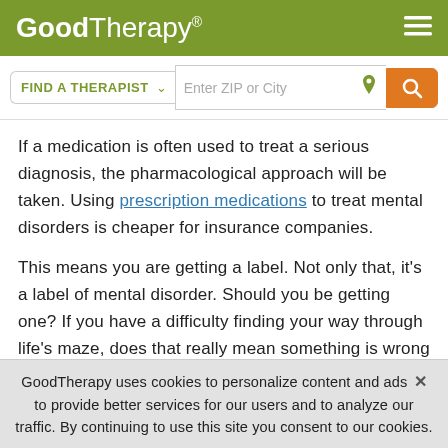GoodTherapy®
If a medication is often used to treat a serious diagnosis, the pharmacological approach will be taken. Using prescription medications to treat mental disorders is cheaper for insurance companies.
This means you are getting a label. Not only that, it's a label of mental disorder. Should you be getting one? If you have a difficulty finding your way through life's maze, does that really mean something is wrong with you? I don't think so. Unfortunately, with each new publication of the DSM, the number of "disorders" increases.
GoodTherapy uses cookies to personalize content and ads to provide better services for our users and to analyze our traffic. By continuing to use this site you consent to our cookies.